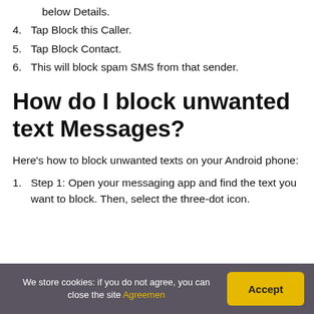below Details.
4. Tap Block this Caller.
5. Tap Block Contact.
6. This will block spam SMS from that sender.
How do I block unwanted text Messages?
Here's how to block unwanted texts on your Android phone:
1. Step 1: Open your messaging app and find the text you want to block. Then, select the three-dot icon.
We store cookies: if you do not agree, you can close the site Agreemen
Accept